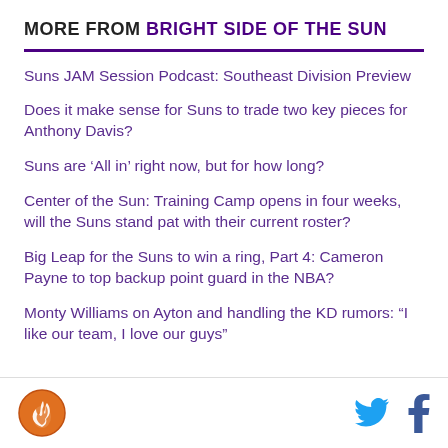MORE FROM BRIGHT SIDE OF THE SUN
Suns JAM Session Podcast: Southeast Division Preview
Does it make sense for Suns to trade two key pieces for Anthony Davis?
Suns are ‘All in’ right now, but for how long?
Center of the Sun: Training Camp opens in four weeks, will the Suns stand pat with their current roster?
Big Leap for the Suns to win a ring, Part 4: Cameron Payne to top backup point guard in the NBA?
Monty Williams on Ayton and handling the KD rumors: “I like our team, I love our guys”
Bright Side of the Sun logo, Twitter, Facebook icons